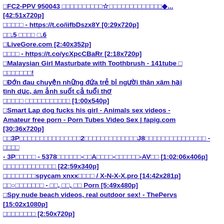□FC2-PPV 950043 □□□□□□□□□□☆□□□□□□□□□□□□□◆... [42:51x720p]
□□□□□ - https://t.co/iifbDszx8Y [0:29x720p]
□□.5 □□□□ □.6
□LiveGore.com [2:40x352p]
□□□□ - https://t.co/ycXpcCBaRr [2:18x720p]
□Malaysian Girl Masturbate with Toothbrush - 141tube □ □□□□□□□!
□Đớn đau chuyện những đứa trẻ bị người thân xâm hại tình dục, ám ảnh suốt cả tuổi thơ
□□□□□ □□□□□□□□□□□ [1:00x540p]
□Smart Lap dog fucks his girl - Animals sex videos - Amateur free porn - Porn Tubes Video Sex | fapig.com [30:36x720p]
□□3P□□□□□□□□□□□□□□□2□□□□□□□□□□□□□J8□□□□□□□□□□□□□□□ - □□□□ - 3P□□□□□ - 5378□□□□□□-□□A□□□□-□□□□□□-AV□□ [1:02:06x406p]
□□□□□□□□□□□□□ [22:59x340p]
□□□□□□□□spycam xnxx□□□□ / X-N-X-X.pro [14:42x281p]
□□○□□□□□□□ - □□, □□, □□ Porn [5:49x480p]
□Spy nude beach videos, real outdoor sex! - ThePervs [15:02x1080p]
□□□□□□□□ [2:50x720p]